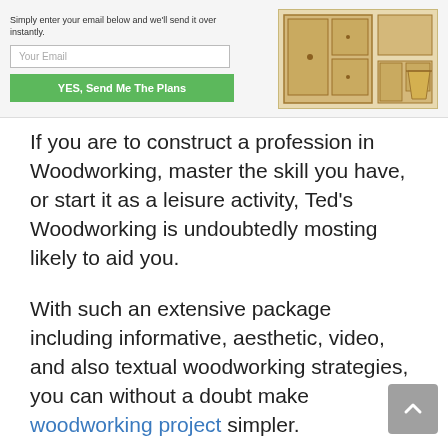[Figure (screenshot): Banner with email opt-in form on the left (text: 'Simply enter your email below and we'll send it over instantly.', email input field, green button 'YES, Send Me The Plans') and a woodworking plans illustration on the right.]
If you are to construct a profession in Woodworking, master the skill you have, or start it as a leisure activity, Ted's Woodworking is undoubtedly mosting likely to aid you.
With such an extensive package including informative, aesthetic, video, and also textual woodworking strategies, you can without a doubt make woodworking project simpler.
The comprehensive method of developing woodworking, foster skill, rich references all